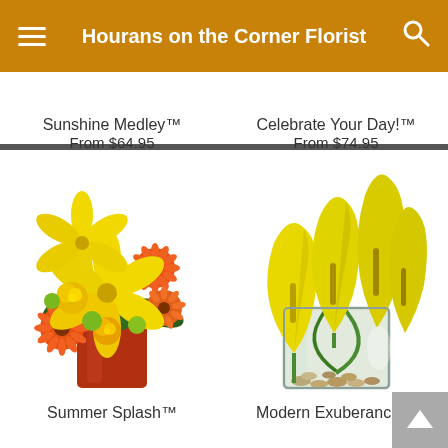Hourans on the Corner Florist
Same Day Delivery ends in: 04 : 17 : 37
Sunshine Medley™
From $64.95
Celebrate Your Day!™
From $74.95
[Figure (photo): Flower arrangement with orange gerbera daisies, yellow lilies, and yellow roses in a red square vase — Summer Splash]
[Figure (photo): Yellow calla lilies in a clear square glass vase with green spiral stems and pebbles — Modern Exuberance]
Summer Splash™
Modern Exuberance™